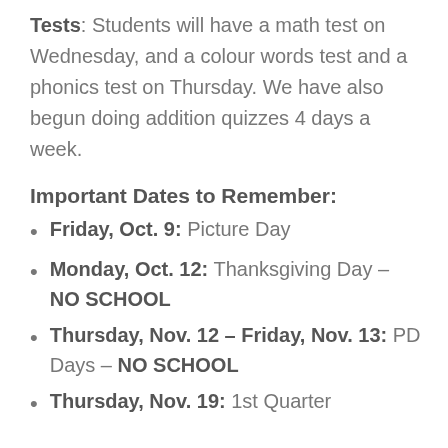Tests: Students will have a math test on Wednesday, and a colour words test and a phonics test on Thursday. We have also begun doing addition quizzes 4 days a week.
Important Dates to Remember:
Friday, Oct. 9: Picture Day
Monday, Oct. 12: Thanksgiving Day – NO SCHOOL
Thursday, Nov. 12 – Friday, Nov. 13: PD Days – NO SCHOOL
Thursday, Nov. 19: 1st Quarter